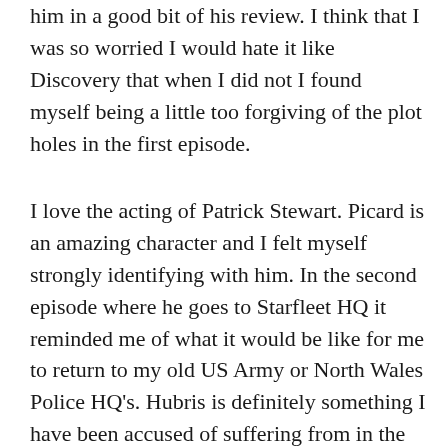him in a good bit of his review. I think that I was so worried I would hate it like Discovery that when I did not I found myself being a little too forgiving of the plot holes in the first episode.
I love the acting of Patrick Stewart. Picard is an amazing character and I felt myself strongly identifying with him. In the second episode where he goes to Starfleet HQ it reminded me of what it would be like for me to return to my old US Army or North Wales Police HQ's. Hubris is definitely something I have been accused of suffering from in the past by more than a few folks.